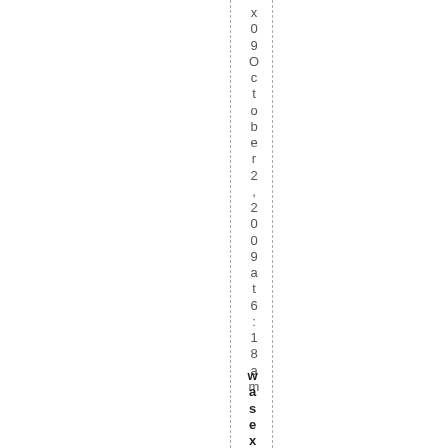x09October 2, 2009 at 6:18 am
was ex